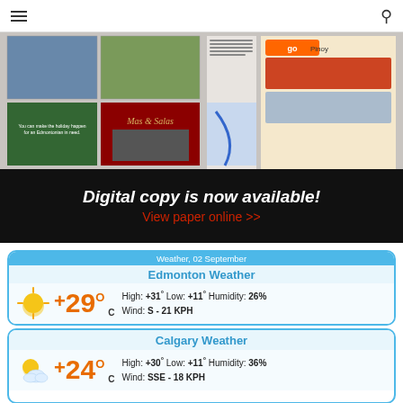[Figure (screenshot): Navigation bar with hamburger menu icon on left and search icon on right]
[Figure (photo): Newspaper pages showing sports photos, advertisements including Go Pinoy car ad, holiday charity appeal, and other news content]
Digital copy is now available!
View paper online >>
Weather, 02 September
Edmonton Weather
+29° C  High: +31° Low: +11° Humidity: 26%  Wind: S - 21 KPH
Calgary Weather
+24° C  High: +30° Low: +11° Humidity: 36%  Wind: SSE - 18 KPH